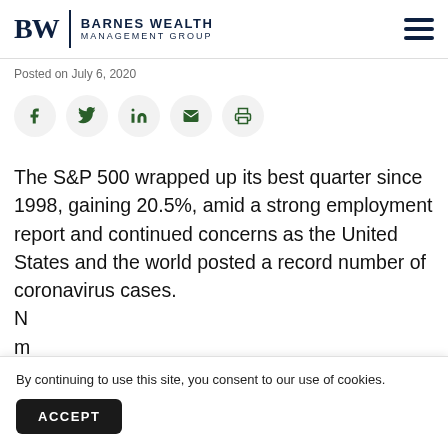BW | Barnes Wealth Management Group
Posted on July 6, 2020
[Figure (other): Social sharing icons row: Facebook, Twitter, LinkedIn, Email, Print]
The S&P 500 wrapped up its best quarter since 1998, gaining 20.5%, amid a strong employment report and continued concerns as the United States and the world posted a record number of coronavirus cases. N... m... s...
By continuing to use this site, you consent to our use of cookies.